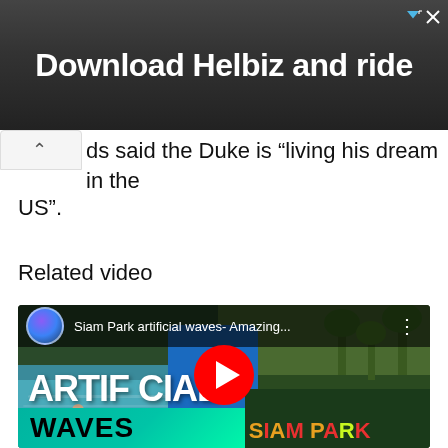[Figure (photo): Advertisement banner showing a scooter handlebar with text 'Download Helbiz and ride' on dark background]
ds said the Duke is “living his dream in the US”.
Related video
[Figure (screenshot): YouTube video thumbnail for 'Siam Park artificial waves- Amazing...' showing a water park scene with large text 'ARTIFICIAL WAVES' and Siam Park logo, with YouTube play button overlay]